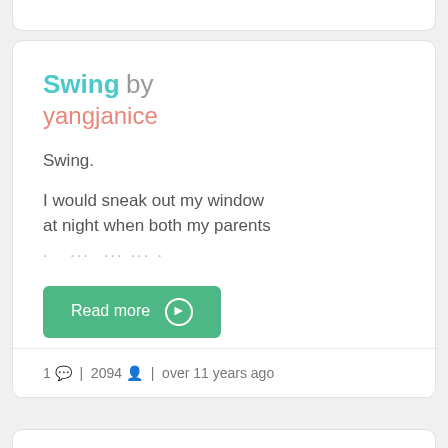Swing by yangjanice
Swing.
I would sneak out my window at night when both my parents
Read more →
1 💬 | 2094 👤 | over 11 years ago